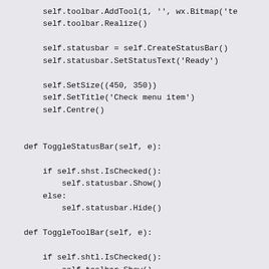self.toolbar.AddTool(1, '', wx.Bitmap('te
        self.toolbar.Realize()

        self.statusbar = self.CreateStatusBar()
        self.statusbar.SetStatusText('Ready')

        self.SetSize((450, 350))
        self.SetTitle('Check menu item')
        self.Centre()


    def ToggleStatusBar(self, e):

        if self.shst.IsChecked():
            self.statusbar.Show()
        else:
            self.statusbar.Hide()

    def ToggleToolBar(self, e):

        if self.shtl.IsChecked():
            self.toolbar.Show()
        else:
            self.toolbar.Hide()